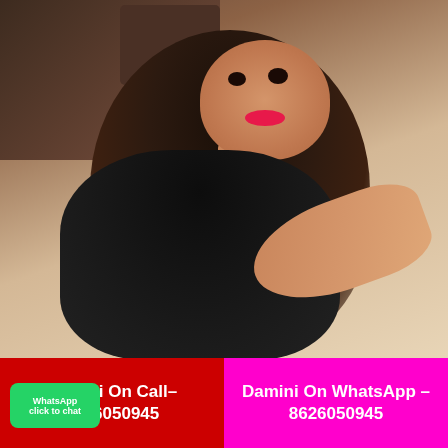[Figure (photo): A young woman with long dark hair wearing a black sleeveless top, taking a selfie. She has red lipstick and is seated on a brown sofa/chair. Background shows beige/cream wall.]
Damini On Call– 8626050945
Damini On WhatsApp – 8626050945